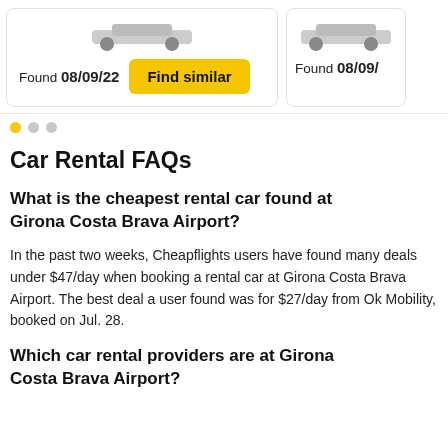Found 08/09/22
Find similar
Found 08/09/
Car Rental FAQs
What is the cheapest rental car found at Girona Costa Brava Airport?
In the past two weeks, Cheapflights users have found many deals under $47/day when booking a rental car at Girona Costa Brava Airport. The best deal a user found was for $27/day from Ok Mobility, booked on Jul. 28.
Which car rental providers are at Girona Costa Brava Airport?